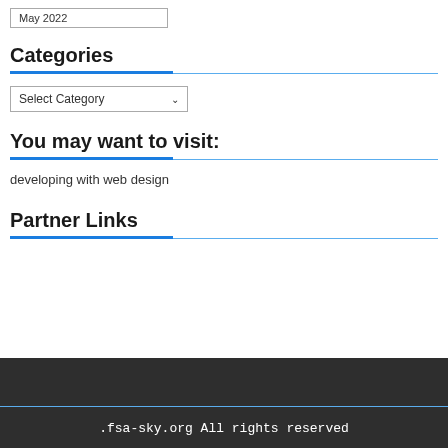May 2022
Categories
Select Category
You may want to visit:
developing with web design
Partner Links
.fsa-sky.org All rights reserved